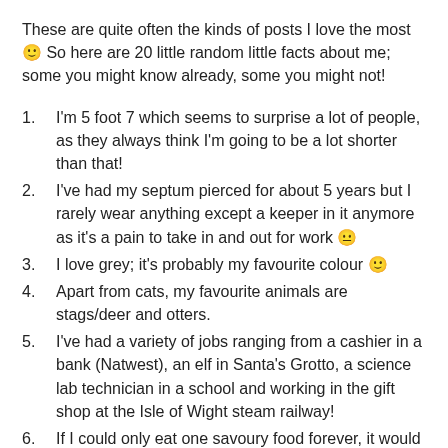These are quite often the kinds of posts I love the most 🙂 So here are 20 little random little facts about me; some you might know already, some you might not!
I'm 5 foot 7 which seems to surprise a lot of people, as they always think I'm going to be a lot shorter than that!
I've had my septum pierced for about 5 years but I rarely wear anything except a keeper in it anymore as it's a pain to take in and out for work 😐
I love grey; it's probably my favourite colour 🙂
Apart from cats, my favourite animals are stags/deer and otters.
I've had a variety of jobs ranging from a cashier in a bank (Natwest), an elf in Santa's Grotto, a science lab technician in a school and working in the gift shop at the Isle of Wight steam railway!
If I could only eat one savoury food forever, it would have to be pasta! I absolutely love any kind (plus I can sneak in other